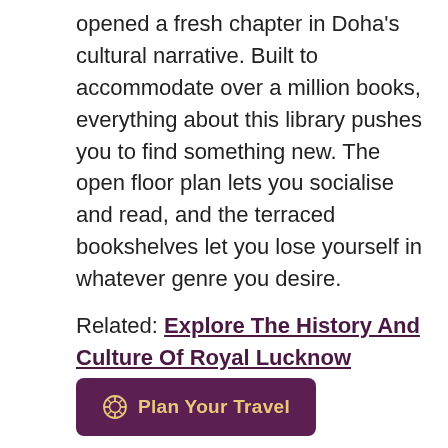opened a fresh chapter in Doha's cultural narrative. Built to accommodate over a million books, everything about this library pushes you to find something new. The open floor plan lets you socialise and read, and the terraced bookshelves let you lose yourself in whatever genre you desire.
Related: Explore The History And Culture Of Royal Lucknow
[Figure (other): A dark purple button with a gold compass/gear icon and the text 'Plan Your Travel' in gold.]